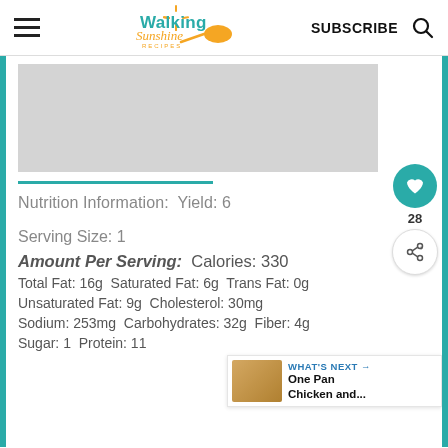Walking Sunshine Recipes — SUBSCRIBE
[Figure (photo): Gray placeholder image area for recipe photo]
Nutrition Information:  Yield: 6
Serving Size: 1
Amount Per Serving:  Calories: 330
Total Fat: 16g  Saturated Fat: 6g  Trans Fat: 0g
Unsaturated Fat: 9g  Cholesterol: 30mg
Sodium: 253mg  Carbohydrates: 32g  Fiber: 4g
Sugar: 1  Protein: 11...